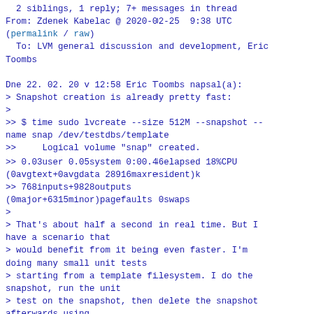2 siblings, 1 reply; 7+ messages in thread
From: Zdenek Kabelac @ 2020-02-25  9:38 UTC
(permalink / raw)
  To: LVM general discussion and development, Eric
Toombs

Dne 22. 02. 20 v 12:58 Eric Toombs napsal(a):
> Snapshot creation is already pretty fast:
>
>> $ time sudo lvcreate --size 512M --snapshot --
name snap /dev/testdbs/template
>>     Logical volume "snap" created.
>> 0.03user 0.05system 0:00.46elapsed 18%CPU
(0avgtext+0avgdata 28916maxresident)k
>> 768inputs+9828outputs
(0major+6315minor)pagefaults 0swaps
>
> That's about half a second in real time. But I
have a scenario that
> would benefit from it being even faster. I'm
doing many small unit tests
> starting from a template filesystem. I do the
snapshot, run the unit
> test on the snapshot, then delete the snapshot
afterwards using
> lvremove. Each unit test, though, takes much
less than a second to run
> (often on the order of 10ms), so most of the
time is being spent making
> these snapshots.